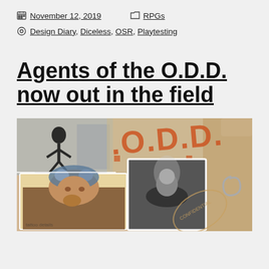November 12, 2019   RPGs
Design Diary, Diceless, OSR, Playtesting
Agents of the O.D.D. now out in the field
[Figure (photo): Collage image showing an alien figure silhouette, orange O.D.D. stamp/logo text, a man with an open-brain-like headpiece, a vintage black-and-white photo of a man, a manila folder with CONFIDENTIAL stamp, and a paper clip.]